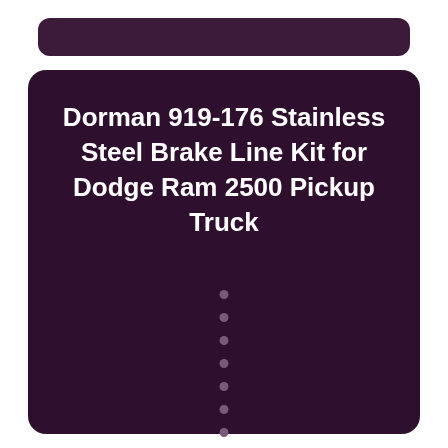Dorman 919-176 Stainless Steel Brake Line Kit for Dodge Ram 2500 Pickup Truck